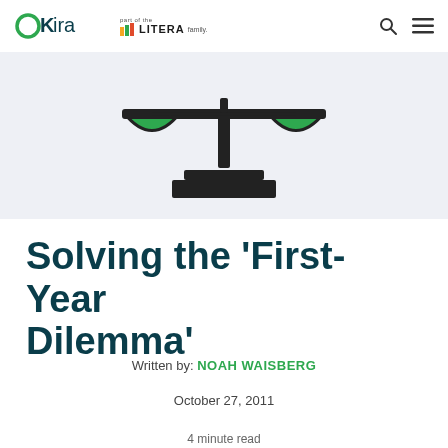OKira — part of the LITERA family.
[Figure (illustration): A stylized balance scale icon with two green bowl-shaped pans and a dark stand/base, on a light blue-grey background.]
Solving the 'First-Year Dilemma'
Written by: NOAH WAISBERG
October 27, 2011
4 minute read